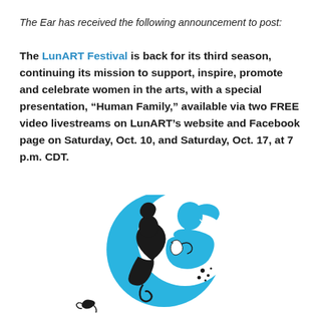The Ear has received the following announcement to post:
The LunART Festival is back for its third season, continuing its mission to support, inspire, promote and celebrate women in the arts, with a special presentation, “Human Family,” available via two FREE video livestreams on LunART’s website and Facebook page on Saturday, Oct. 10, and Saturday, Oct. 17, at 7 p.m. CDT.
[Figure (logo): LunART Festival logo: a blue crescent moon shape with silhouettes of two women’s profiles facing in opposite directions, one in blue and one in black, with decorative swirl elements]